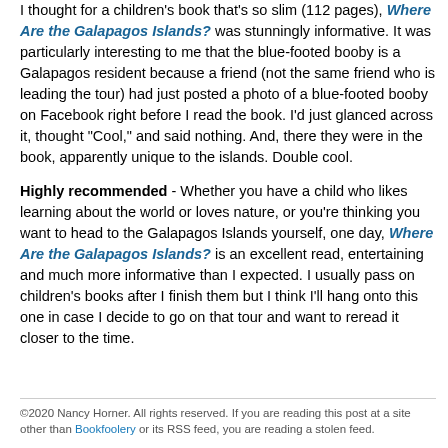I thought for a children's book that's so slim (112 pages), Where Are the Galapagos Islands? was stunningly informative. It was particularly interesting to me that the blue-footed booby is a Galapagos resident because a friend (not the same friend who is leading the tour) had just posted a photo of a blue-footed booby on Facebook right before I read the book. I'd just glanced across it, thought "Cool," and said nothing. And, there they were in the book, apparently unique to the islands. Double cool.
Highly recommended - Whether you have a child who likes learning about the world or loves nature, or you're thinking you want to head to the Galapagos Islands yourself, one day, Where Are the Galapagos Islands? is an excellent read, entertaining and much more informative than I expected. I usually pass on children's books after I finish them but I think I'll hang onto this one in case I decide to go on that tour and want to reread it closer to the time.
©2020 Nancy Horner. All rights reserved. If you are reading this post at a site other than Bookfoolery or its RSS feed, you are reading a stolen feed.